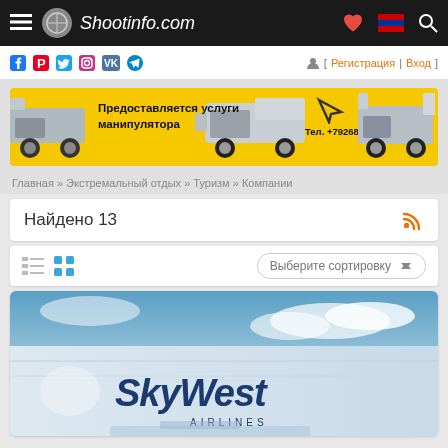Shootinfo.com
[Figure (screenshot): Social media icons bar with Facebook, Pinterest, Twitter, Instagram, VK, Telegram icons and login links [Регистрация | Вход]]
[Figure (photo): Yellow advertisement banner: Предоставляется услуги манипулятора, Тел. +79268556066, with truck images]
Главная » Экстремальный отдых » Туризм » Компании
Найдено 13
[Figure (screenshot): Sort controls: list view icon, grid view icon, Выберите сортировку dropdown]
[Figure (photo): SkyWest Airlines company card image showing SkyWest logo on building exterior with blue sky]